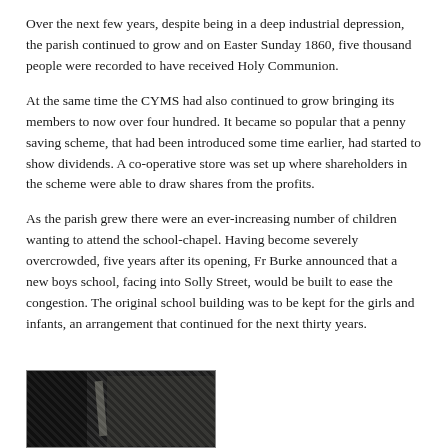Over the next few years, despite being in a deep industrial depression, the parish continued to grow and on Easter Sunday 1860, five thousand people were recorded to have received Holy Communion.
At the same time the CYMS had also continued to grow bringing its members to now over four hundred. It became so popular that a penny saving scheme, that had been introduced some time earlier, had started to show dividends. A co-operative store was set up where shareholders in the scheme were able to draw shares from the profits.
As the parish grew there were an ever-increasing number of children wanting to attend the school-chapel. Having become severely overcrowded, five years after its opening, Fr Burke announced that a new boys school, facing into Solly Street, would be built to ease the congestion. The original school building was to be kept for the girls and infants, an arrangement that continued for the next thirty years.
[Figure (photo): Black and white photograph showing what appears to be a building exterior or architectural detail, partially visible at the bottom left of the page.]